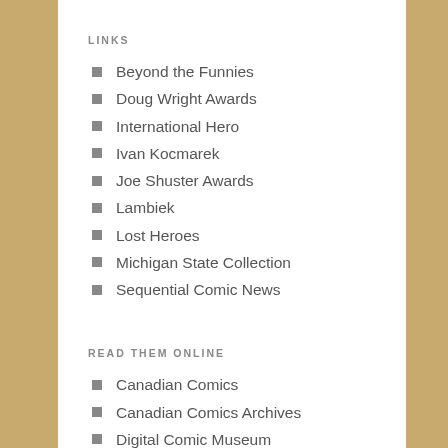LINKS
Beyond the Funnies
Doug Wright Awards
International Hero
Ivan Kocmarek
Joe Shuster Awards
Lambiek
Lost Heroes
Michigan State Collection
Sequential Comic News
READ THEM ONLINE
Canadian Comics
Canadian Comics Archives
Digital Comic Museum
Golden Age Comics
Leanne Franson
Library and Archives
Stig's Inferno